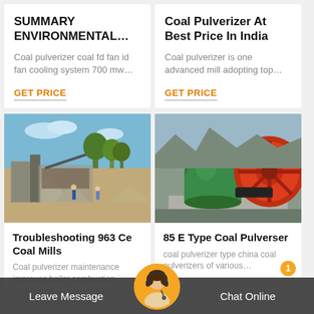SUMMARY ENVIRONMENTAL…
Coal pulverizer coal fd fan id fan cooling system 700 mw…
GET PRICE
Coal Pulverizer At Best Price In India
Coal pulverizer is one advanced mill adopting top…
GET PRICE
[Figure (photo): Outdoor mining/quarry site with machinery, gravel piles, workers, and trees in background]
Troubleshooting 963 Ce Coal Mills
Coal pulverizer maintenance improves boiler combustion…
[Figure (photo): Heavy industrial coal pulverizer equipment — green cylindrical mill and large orange wheel/drum on concrete pad at a quarry site]
85 E Type Coal Pulverser
coal pulverizer type china coal pulverizers of various…
Leave Message   Chat Online